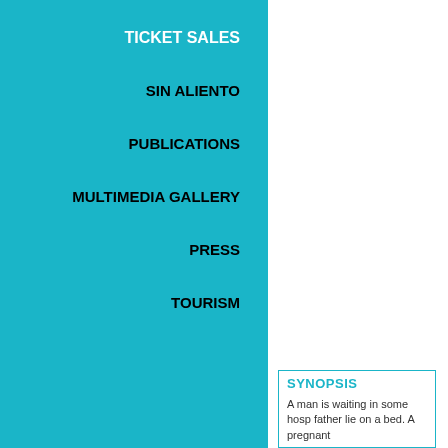TICKET SALES
SIN ALIENTO
PUBLICATIONS
MULTIMEDIA GALLERY
PRESS
TOURISM
SYNOPSIS
A man is waiting in some hosp father lie on a bed. A pregnant